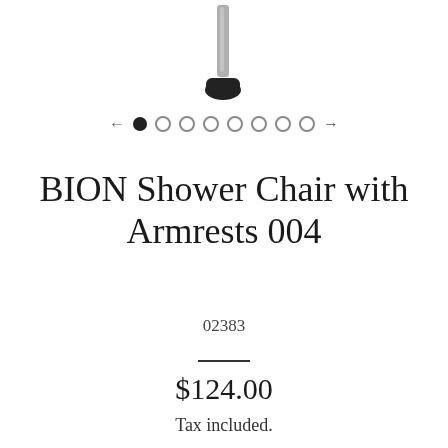[Figure (photo): Partial photo of a chair leg/foot at the top of the page, showing a black rubber tip and metal leg against a white background]
[Figure (other): Image carousel navigation: left arrow, one filled dot, seven empty dots, right arrow]
BION Shower Chair with Armrests 004
02383
$124.00
Tax included.